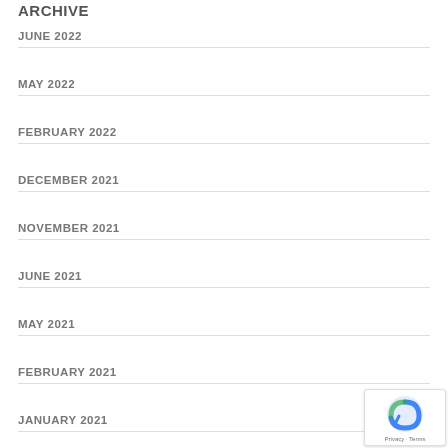ARCHIVE
JUNE 2022
MAY 2022
FEBRUARY 2022
DECEMBER 2021
NOVEMBER 2021
JUNE 2021
MAY 2021
FEBRUARY 2021
JANUARY 2021